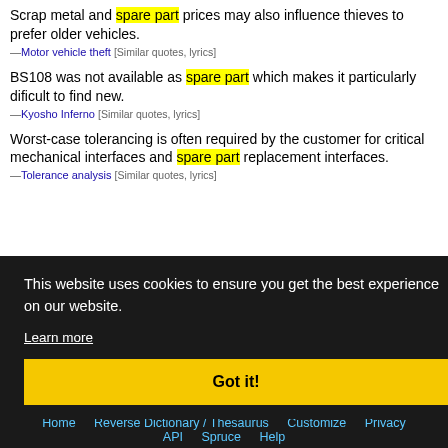Scrap metal and spare part prices may also influence thieves to prefer older vehicles.
—Motor vehicle theft [Similar quotes, lyrics]
BS108 was not available as spare part which makes it particularly dificult to find new.
—Kyosho Inferno [Similar quotes, lyrics]
Worst-case tolerancing is often required by the customer for critical mechanical interfaces and spare part replacement interfaces.
—Tolerance analysis [Similar quotes, lyrics]
[Figure (screenshot): Cookie consent banner overlay on dark background with text: 'This website uses cookies to ensure you get the best experience on our website.' with 'Learn more' link and 'Got it!' yellow button]
Home  Reverse Dictionary / Thesaurus  Customize  Privacy  API  Spruce  Help